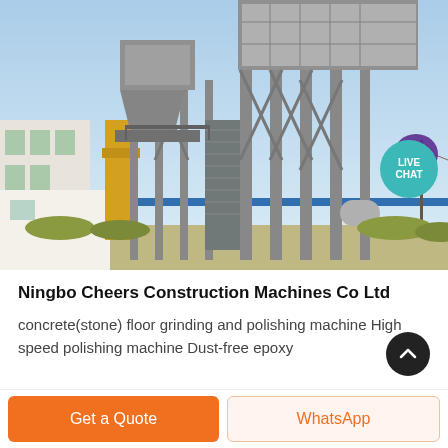[Figure (photo): Large industrial asphalt mixing plant or construction machinery facility, multi-story steel structure with towers, staircases, silos and hoppers. Buildings visible in background, blue sky. Live Chat bubble overlay in top right corner.]
Ningbo Cheers Construction Machines Co Ltd
concrete(stone) floor grinding and polishing machine High speed polishing machine Dust-free epoxy
Get a Quote
WhatsApp